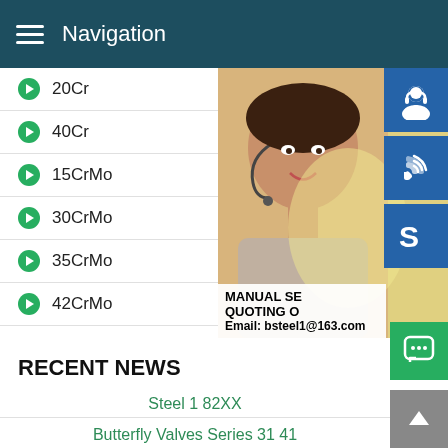Navigation
20Cr
40Cr
15CrMo
30CrMo
35CrMo
42CrMo
[Figure (photo): Customer service representative (woman with headset) with blue icon buttons for support, phone, and Skype on the right side. Overlay text shows MANUAL SE..., QUOTING O..., Email: bsteel1@163.com]
RECENT NEWS
Steel 1 82XX
Butterfly Valves Series 31 41